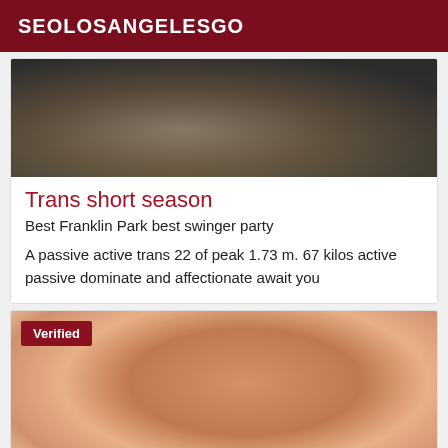SEOLOSANGELESGO
[Figure (photo): Photo of a person partially visible, with light tan/wood background]
Trans short season
Best Franklin Park best swinger party
A passive active trans 22 of peak 1.73 m. 67 kilos active passive dominate and affectionate await you
[Figure (photo): Close-up photo with a Verified badge overlay]